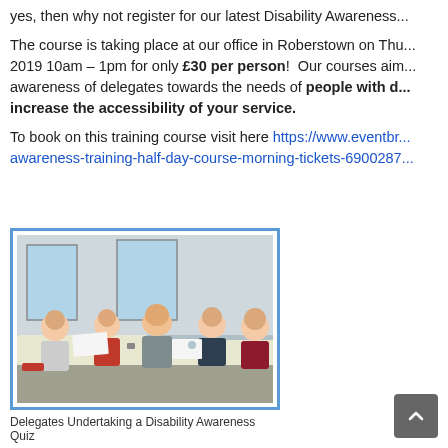yes, then why not register for our latest Disability Awareness...
The course is taking place at our office in Roberstown on Th... 2019 10am – 1pm for only £30 per person!  Our courses aim... awareness of delegates towards the needs of people with d... increase the accessibility of your service.
To book on this training course visit here https://www.eventbr... awareness-training-half-day-course-morning-tickets-6900287...
[Figure (photo): Delegates sitting around tables in a classroom/office setting, writing and working on papers during a Disability Awareness Quiz training session.]
Delegates Undertaking a Disability Awareness Quiz